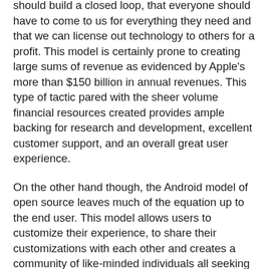should build a closed loop, that everyone should have to come to us for everything they need and that we can license out technology to others for a profit. This model is certainly prone to creating large sums of revenue as evidenced by Apple's more than $150 billion in annual revenues. This type of tactic pared with the sheer volume financial resources created provides ample backing for research and development, excellent customer support, and an overall great user experience.
On the other hand though, the Android model of open source leaves much of the equation up to the end user. This model allows users to customize their experience, to share their customizations with each other and creates a community of like-minded individuals all seeking to make the product better. While this method yields lower revenue evidenced by Google's lower-than-apple-but-totally-respectable $50 billion in annual revenue, it also means a higher rate of adoption among potential users. Currently, Android-based devices control over 70% of the global market for mobile devices.
So the question is, open or closed? Should my organization be working toward a closed-loop, proprietary structure or an open-source platform for community interaction and